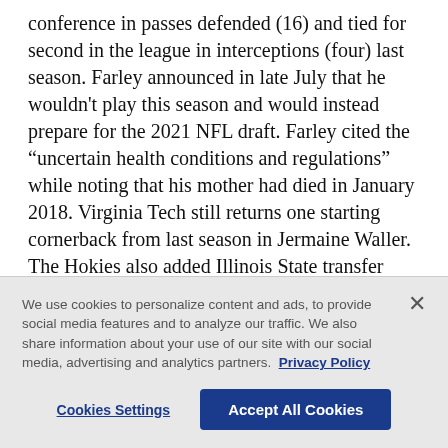conference in passes defended (16) and tied for second in the league in interceptions (four) last season. Farley announced in late July that he wouldn't play this season and would instead prepare for the 2021 NFL draft. Farley cited the “unertain health conditions and regulations” while noting that his mother had died in January 2018. Virginia Tech still returns one starting cornerback from last season in Jermaine Waller. The Hokies also added Illinois State transfer Devin Taylor, who led the Missouri Valley Conference in pass breakups last year.
We use cookies to personalize content and ads, to provide social media features and to analyze our traffic. We also share information about your use of our site with our social media, advertising and analytics partners. Privacy Policy
Cookies Settings   Accept All Cookies